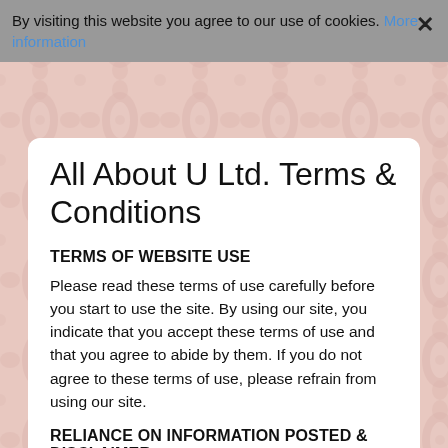By visiting this website you agree to our use of cookies. More information ×
All About U Ltd. Terms & Conditions
TERMS OF WEBSITE USE
Please read these terms of use carefully before you start to use the site. By using our site, you indicate that you accept these terms of use and that you agree to abide by them. If you do not agree to these terms of use, please refrain from using our site.
RELIANCE ON INFORMATION POSTED & DISCLAIMER
The materials contained on our site are provided